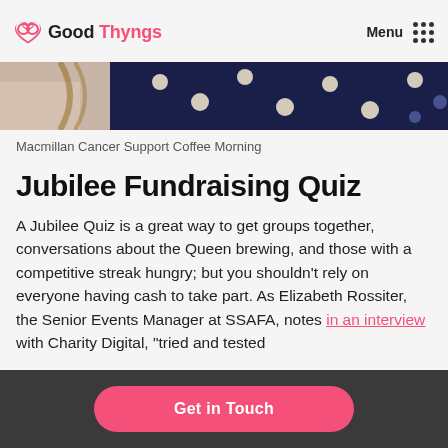Good Thyngs — Menu
[Figure (photo): Partial photo showing a person wearing a dark navy polka-dot fabric, cropped at top of page]
Macmillan Cancer Support Coffee Morning
Jubilee Fundraising Quiz
A Jubilee Quiz is a great way to get groups together, conversations about the Queen brewing, and those with a competitive streak hungry; but you shouldn't rely on everyone having cash to take part. As Elizabeth Rossiter, the Senior Events Manager at SSAFA, notes in an interview with Charity Digital, "tried and tested
Get in Touch